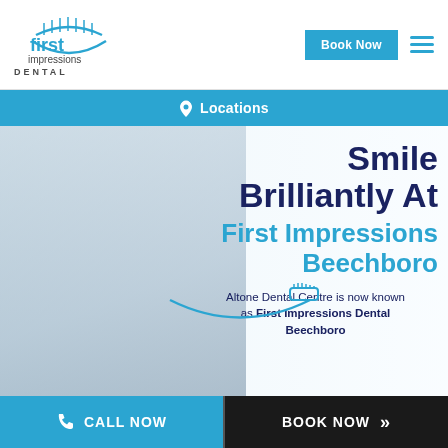[Figure (logo): First Impressions Dental logo with teal arc and toothbrush icon above 'impressions' text and 'DENTAL' in uppercase]
Book Now | menu
Locations
[Figure (photo): Background photo of dental clinic interior with smiling dental professional in dark scrubs at reception]
Smile Brilliantly At First Impressions Beechboro
Altone Dental Centre is now known as First Impressions Dental Beechboro
CALL NOW | BOOK NOW >>